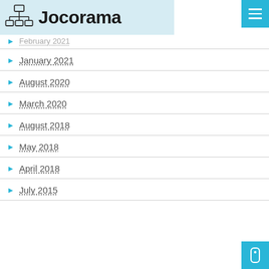Jocorama
February 2021
January 2021
August 2020
March 2020
August 2018
May 2018
April 2018
July 2015